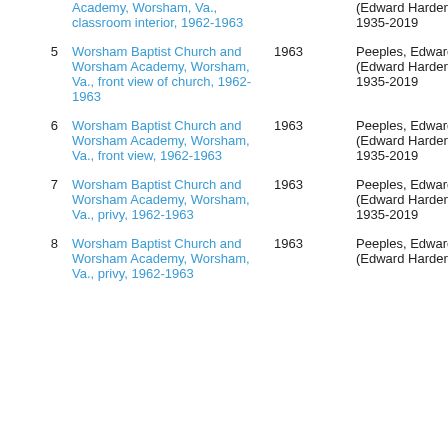| # | Title | Date | Creator |
| --- | --- | --- | --- |
|  | Academy, Worsham, Va., classroom interior, 1962-1963 |  | (Edward Harden), 1935-2019 |
| 5 | Worsham Baptist Church and Worsham Academy, Worsham, Va., front view of church, 1962-1963 | 1963 | Peeples, Edward H. (Edward Harden), 1935-2019 |
| 6 | Worsham Baptist Church and Worsham Academy, Worsham, Va., front view, 1962-1963 | 1963 | Peeples, Edward H. (Edward Harden), 1935-2019 |
| 7 | Worsham Baptist Church and Worsham Academy, Worsham, Va., privy, 1962-1963 | 1963 | Peeples, Edward H. (Edward Harden), 1935-2019 |
| 8 | Worsham Baptist Church and Worsham Academy, Worsham, Va., privy, 1962-1963 | 1963 | Peeples, Edward H. (Edward Harden), |